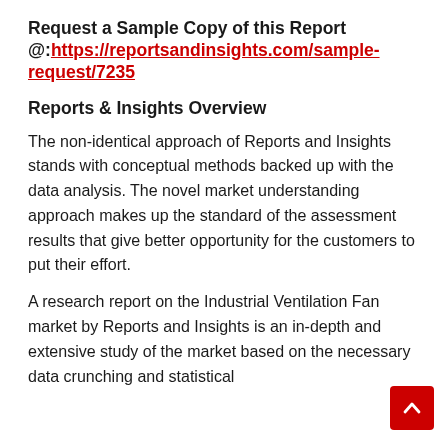Request a Sample Copy of this Report @: https://reportsandinsights.com/sample-request/7235
Reports & Insights Overview
The non-identical approach of Reports and Insights stands with conceptual methods backed up with the data analysis. The novel market understanding approach makes up the standard of the assessment results that give better opportunity for the customers to put their effort.
A research report on the Industrial Ventilation Fan market by Reports and Insights is an in-depth and extensive study of the market based on the necessary data crunching and statistical